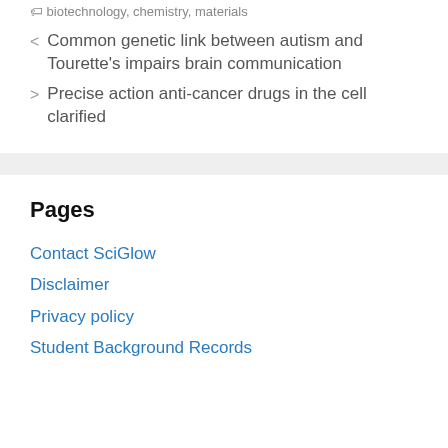biotechnology, chemistry, materials
< Common genetic link between autism and Tourette's impairs brain communication
> Precise action anti-cancer drugs in the cell clarified
Pages
Contact SciGlow
Disclaimer
Privacy policy
Student Background Records